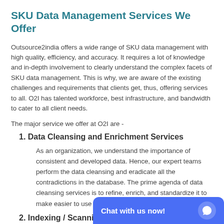SKU Data Management Services We Offer
Outsource2india offers a wide range of SKU data management with high quality, efficiency, and accuracy. It requires a lot of knowledge and in-depth involvement to clearly understand the complex facets of SKU data management. This is why, we are aware of the existing challenges and requirements that clients get, thus, offering services to all. O2I has talented workforce, best infrastructure, and bandwidth to cater to all client needs.
The major service we offer at O2I are -
1. Data Cleansing and Enrichment Services
As an organization, we understand the importance of consistent and developed data. Hence, our expert teams perform the data cleansing and eradicate all the contradictions in the database. The prime agenda of data cleansing services is to refine, enrich, and standardize it to make easier to use for future purpos…
2. Indexing / Scanning